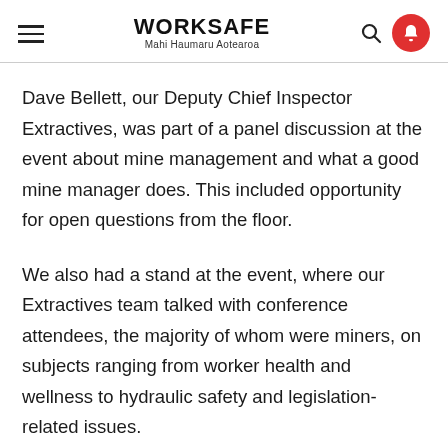WORKSAFE Mahi Haumaru Aotearoa
Dave Bellett, our Deputy Chief Inspector Extractives, was part of a panel discussion at the event about mine management and what a good mine manager does. This included opportunity for open questions from the floor.
We also had a stand at the event, where our Extractives team talked with conference attendees, the majority of whom were miners, on subjects ranging from worker health and wellness to hydraulic safety and legislation-related issues.